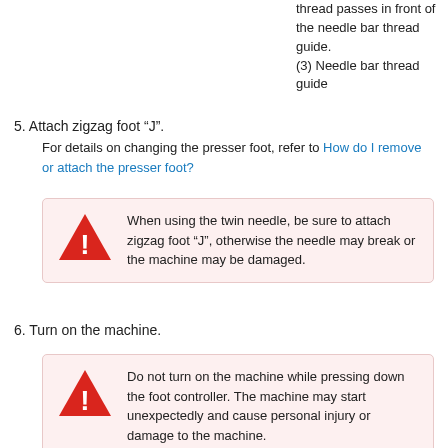thread passes in front of the needle bar thread guide.
(3) Needle bar thread guide
5. Attach zigzag foot “J”.
For details on changing the presser foot, refer to How do I remove or attach the presser foot?
When using the twin needle, be sure to attach zigzag foot “J”, otherwise the needle may break or the machine may be damaged.
6. Turn on the machine.
Do not turn on the machine while pressing down the foot controller. The machine may start unexpectedly and cause personal injury or damage to the machine.